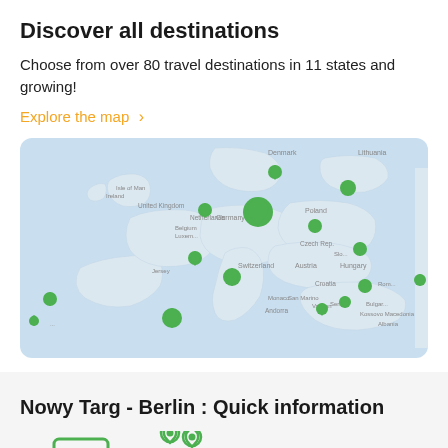Discover all destinations
Choose from over 80 travel destinations in 11 states and growing!
Explore the map  >
[Figure (map): Map of Europe with green location pin markers showing travel destinations across multiple countries including Netherlands, Germany, Poland, Czech Republic, Switzerland, Austria, Hungary, Croatia, Italy, and others.]
Nowy Targ - Berlin : Quick information
[Figure (illustration): Credit card icon and location pins icon at the bottom of the page]